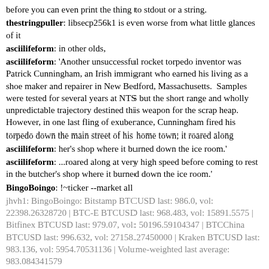before you can even print the thing to stdout or a string.
thestringpuller: libsecp256k1 is even worse from what little glances of it
asciilifeform: in other olds,
asciilifeform: 'Another unsuccessful rocket torpedo inventor was Patrick Cunningham, an Irish immigrant who earned his living as a shoe maker and repairer in New Bedford, Massachusetts.  Samples were tested for several years at NTS but the short range and wholly unpredictable trajectory destined this weapon for the scrap heap. However, in one last fling of exuberance, Cunningham fired his torpedo down the main street of his home town; it roared along
asciilifeform: her's shop where it burned down the ice room.'
asciilifeform: ...roared along at very high speed before coming to rest in the butcher's shop where it burned down the ice room.'
BingoBoingo: !~ticker --market all
jhvh1: BingoBoingo: Bitstamp BTCUSD last: 986.0, vol: 22398.26328720 | BTC-E BTCUSD last: 968.483, vol: 15891.5575 | Bitfinex BTCUSD last: 979.07, vol: 50196.59104347 | BTCChina BTCUSD last: 996.632, vol: 27158.27450000 | Kraken BTCUSD last: 983.136, vol: 5954.70531136 | Volume-weighted last average: 983.084341579
mircea_popescu: sounds very maga-ish
asciilifeform: in other lulzies, http://www.openwall.com/lists/oss-security/2017/02/09/27
mircea_popescu: bweahahaha knights for socialism, bash the fash